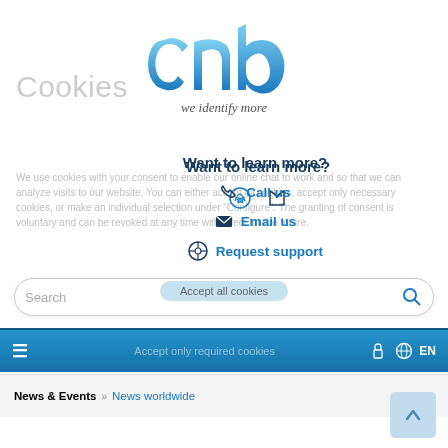[Figure (logo): CAB logo with 'we identify more' tagline, blue gradient letters]
Cookies
We use cookies with your consent to enable our online chat to work and so that we can analyze visits to our website. You can either accept all cookies, accept only necessary cookies, or make an individual selection under "Configure". The granting of consent is voluntary and can be revoked at any time with effect for the future.
Want to learn more?
Call us
Email us
Request support
Search
Accept all cookies
Accept only required cookies
News & Events  »  News worldwide